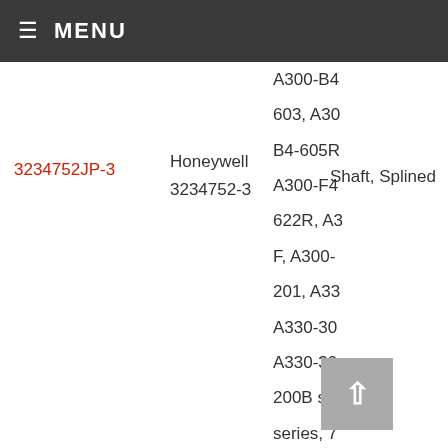MENU
3234752JP-3
Honeywell
3234752-3
Shaft, Splined
A300-B4
603, A300
B4-605R
A300-F4
622R, A3
F, A300-
201, A33
A330-30
A330-30
200B se
series, 7
747-400
400F se
series, 7
McDonn